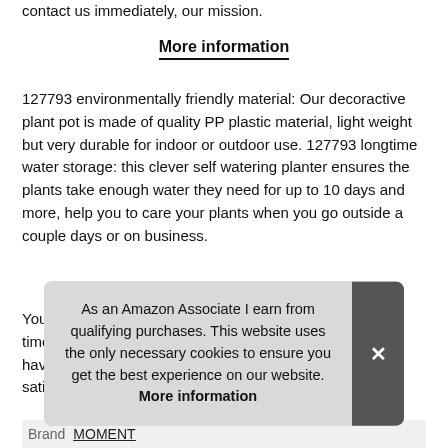contact us immediately, our mission.
More information
127793 environmentally friendly material: Our decoractive plant pot is made of quality PP plastic material, light weight but very durable for indoor or outdoor use. 127793 longtime water storage: this clever self watering planter ensures the plants take enough water they need for up to 10 days and more, help you to care your plants when you go outside a couple days or on business.
You don't need to water your plants every day but just 1-2 time per week, effectively save your precious time. If you have any que sati
As an Amazon Associate I earn from qualifying purchases. This website uses the only necessary cookies to ensure you get the best experience on our website. More information
Brand MOMENT